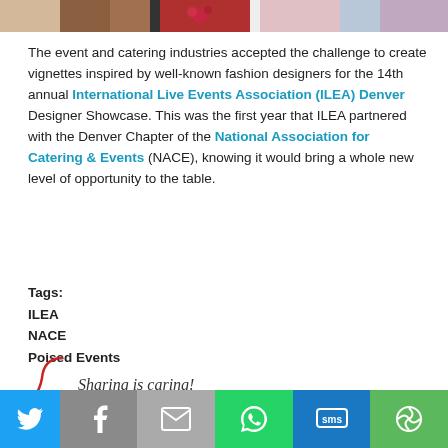[Figure (photo): Photo strip at top showing fashion/event images]
The event and catering industries accepted the challenge to create vignettes inspired by well-known fashion designers for the 14th annual International Live Events Association (ILEA) Denver Designer Showcase. This was the first year that ILEA partnered with the Denver Chapter of the National Association for Catering & Events (NACE), knowing it would bring a whole new level of opportunity to the table.
Tags:
ILEA
NACE
Poised Events
[Figure (infographic): Sharing is caring! with social media share buttons: Twitter, Facebook, Pinterest, LinkedIn, Email, More]
[Figure (infographic): Bottom social share bar: Twitter, Facebook, Email, WhatsApp, SMS, More]